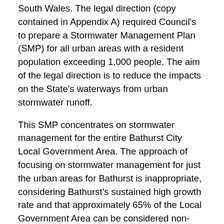South Wales. The legal direction (copy contained in Appendix A) required Council's to prepare a Stormwater Management Plan (SMP) for all urban areas with a resident population exceeding 1,000 people. The aim of the legal direction is to reduce the impacts on the State's waterways from urban stormwater runoff.
This SMP concentrates on stormwater management for the entire Bathurst City Local Government Area. The approach of focusing on stormwater management for just the urban areas for Bathurst is inappropriate, considering Bathurst's sustained high growth rate and that approximately 65% of the Local Government Area can be considered non-urban. This approach will also address issues not typically encountered in an urban situation (i.e. erosion, agricultural land runoff, etc). This is the first SMP prepared for the Bathurst City Council Local Government Area. There are currently no other plans or reports that provide a framework for stormwater management on this scale. Section 94 Contribution Plans exist for some of the sub-